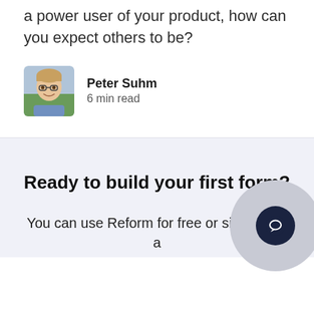a power user of your product, how can you expect others to be?
Peter Suhm
6 min read
Ready to build your first form?
You can use Reform for free or sign up for a